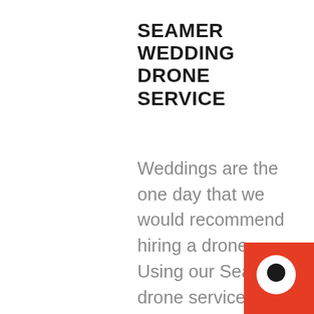SEAMER WEDDING DRONE SERVICE
Weddings are the one day that we would recommend hiring a drone. Using our Seamer drone service, you will have stunning areal footage of the entire wedding. Watch how the bride walks down the aisle from a unique perspective. Using drones in Seamer for weddings is a must. It's time to make the most of your big day with our Seamer wedding drone service.
[Figure (illustration): Red circular chat widget icon with white speech bubble in bottom-right corner]